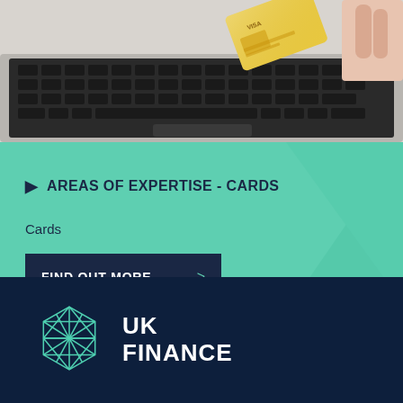[Figure (photo): Photo of a laptop keyboard with a gold/yellow credit card being held above it by a hand, suggesting online shopping or card payment.]
AREAS OF EXPERTISE - CARDS
Cards
FIND OUT MORE
[Figure (logo): UK Finance logo: geometric diamond/gem shape in teal outline style with text 'UK FINANCE' in white on dark navy background.]